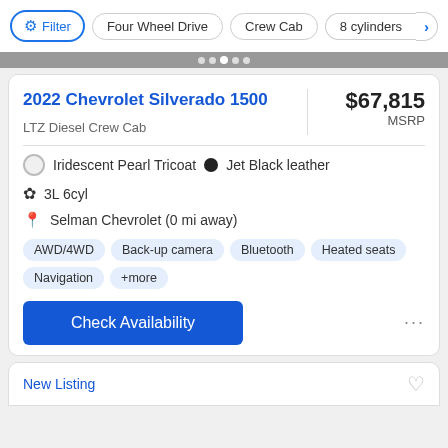Filter | Four Wheel Drive | Crew Cab | 8 cylinders
2022 Chevrolet Silverado 1500
$67,815 MSRP
LTZ Diesel Crew Cab
Iridescent Pearl Tricoat  •  Jet Black leather
3L 6cyl
Selman Chevrolet (0 mi away)
AWD/4WD  Back-up camera  Bluetooth  Heated seats  Navigation  +more
Check Availability
New Listing